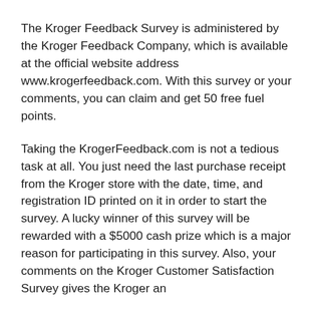The Kroger Feedback Survey is administered by the Kroger Feedback Company, which is available at the official website address www.krogerfeedback.com. With this survey or your comments, you can claim and get 50 free fuel points.
Taking the KrogerFeedback.com is not a tedious task at all. You just need the last purchase receipt from the Kroger store with the date, time, and registration ID printed on it in order to start the survey. A lucky winner of this survey will be rewarded with a $5000 cash prize which is a major reason for participating in this survey. Also, your comments on the Kroger Customer Satisfaction Survey gives the Kroger an